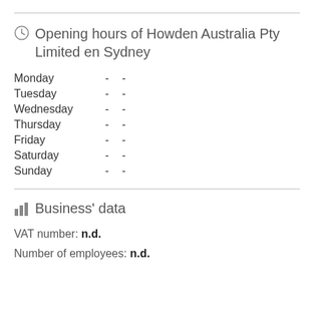Opening hours of Howden Australia Pty Limited en Sydney
| Day |  |  |
| --- | --- | --- |
| Monday | - | - |
| Tuesday | - | - |
| Wednesday | - | - |
| Thursday | - | - |
| Friday | - | - |
| Saturday | - | - |
| Sunday | - | - |
Business' data
VAT number: n.d.
Number of employees: n.d.